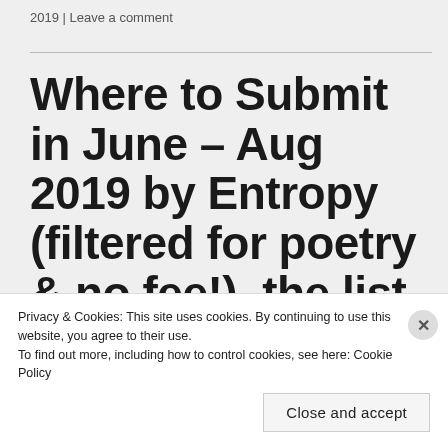2019 | Leave a comment
Where to Submit in June – Aug 2019 by Entropy (filtered for poetry & no fee!) – the list of all lists!
Privacy & Cookies: This site uses cookies. By continuing to use this website, you agree to their use.
To find out more, including how to control cookies, see here: Cookie Policy
Close and accept